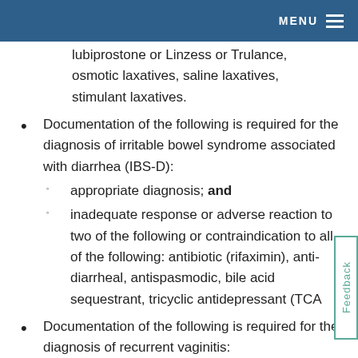MENU
lubiprostone or Linzess or Trulance, osmotic laxatives, saline laxatives, stimulant laxatives.
Documentation of the following is required for the diagnosis of irritable bowel syndrome associated with diarrhea (IBS-D):
appropriate diagnosis; and
inadequate response or adverse reaction to two of the following or contraindication to all of the following: antibiotic (rifaximin), anti-diarrheal, antispasmodic, bile acid sequestrant, tricyclic antidepressant (TCA
Documentation of the following is required for the diagnosis of recurrent vaginitis: